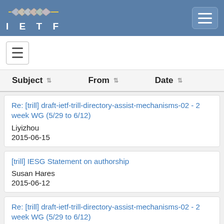IETF
Subject | From | Date
Re: [trill] draft-ietf-trill-directory-assist-mechanisms-02 - 2 week WG (5/29 to 6/12) | Liyizhou | 2015-06-15
[trill] IESG Statement on authorship | Susan Hares | 2015-06-12
Re: [trill] draft-ietf-trill-directory-assist-mechanisms-02 - 2 week WG (5/29 to 6/12) | Donald Eastlake | 2015-06-11
[trill] I-D Action: draft-ietf-trill-p2mp-bfd-00.txt